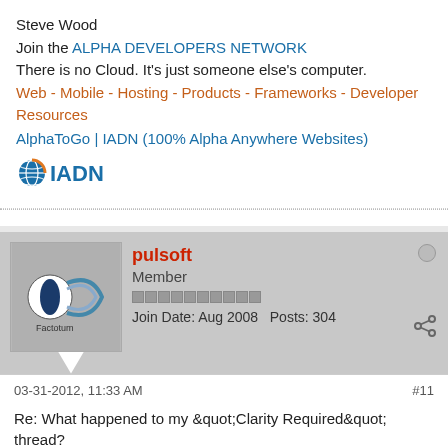Steve Wood
Join the ALPHA DEVELOPERS NETWORK
There is no Cloud. It's just someone else's computer.
Web - Mobile - Hosting - Products - Frameworks - Developer Resources
AlphaToGo | IADN (100% Alpha Anywhere Websites)
[Figure (logo): IADN logo with globe icon and blue text]
pulsoft
Member
Join Date: Aug 2008    Posts: 304
03-31-2012, 11:33 AM   #11
Re: What happened to my &quot;Clarity Required&quot; thread?
Originally posted by Steve Wood ►► I didn't delete that thread and in fact think it had merit and should not have been deleted. We (moderators) quickly wrote those rules to deal with a different situation, a specific user (now expelled) that was being very foul -- and any similar situation that might come up in the future.